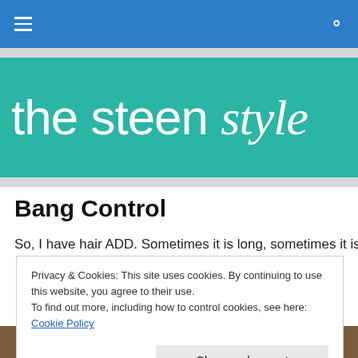the steen style — navigation bar with hamburger menu and search icon
[Figure (logo): The steen style blog logo — white text on teal background reading 'the steen style']
Bang Control
So, I have hair ADD. Sometimes it is long, sometimes it is
Privacy & Cookies: This site uses cookies. By continuing to use this website, you agree to their use. To find out more, including how to control cookies, see here: Cookie Policy
Close and accept
[Figure (photo): Partial photo at bottom of page, appears to be an interior scene]